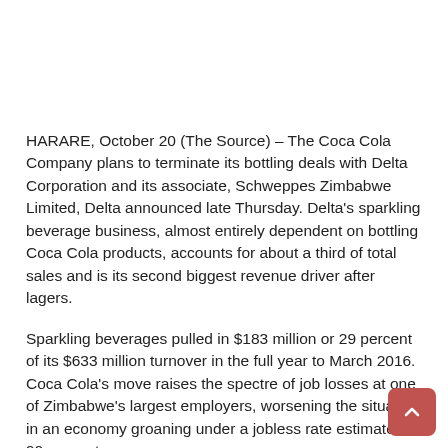HARARE, October 20 (The Source) – The Coca Cola Company plans to terminate its bottling deals with Delta Corporation and its associate, Schweppes Zimbabwe Limited, Delta announced late Thursday. Delta's sparkling beverage business, almost entirely dependent on bottling Coca Cola products, accounts for about a third of total sales and is its second biggest revenue driver after lagers.
Sparkling beverages pulled in $183 million or 29 percent of its $633 million turnover in the full year to March 2016. Coca Cola's move raises the spectre of job losses at one of Zimbabwe's largest employers, worsening the situation in an economy groaning under a jobless rate estimated at 90 percent.
Coca Cola's bid to end the bottlers'agreements with the two firms follows the company's move to...